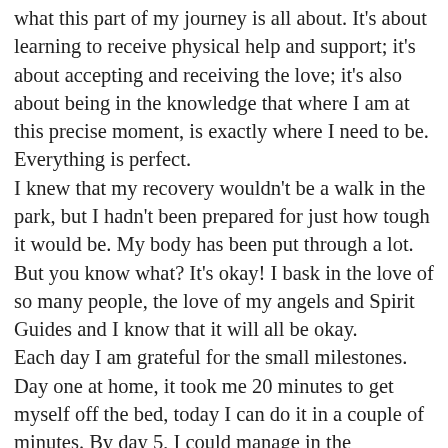what this part of my journey is all about. It's about learning to receive physical help and support; it's about accepting and receiving the love; it's also about being in the knowledge that where I am at this precise moment, is exactly where I need to be. Everything is perfect. I knew that my recovery wouldn't be a walk in the park, but I hadn't been prepared for just how tough it would be. My body has been put through a lot. But you know what? It's okay! I bask in the love of so many people, the love of my angels and Spirit Guides and I know that it will all be okay. Each day I am grateful for the small milestones. Day one at home, it took me 20 minutes to get myself off the bed, today I can do it in a couple of minutes. By day 5, I could manage in the bathroom without using a frame, Day 7, I managed to sit for just over 5 minutes. Tiny steps, but each one brings a sense of joy and excitement for me, and celebrations from my beloved friends and family. It is the small things that in fact really are the bigger things.